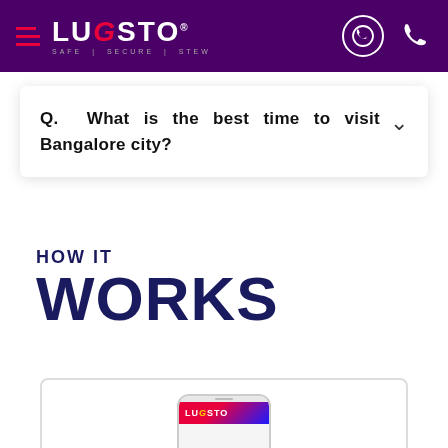[Figure (screenshot): Lugsto app website header with dark purple background, hamburger menu, Lugsto logo with red G letters, and icons for WhatsApp and phone on the right]
Q. What is the best time to visit Bangalore city?
HOW IT
WORKS
[Figure (screenshot): Lugsto mobile app screenshot showing the app interface with red and blue header and Lugsto branding]